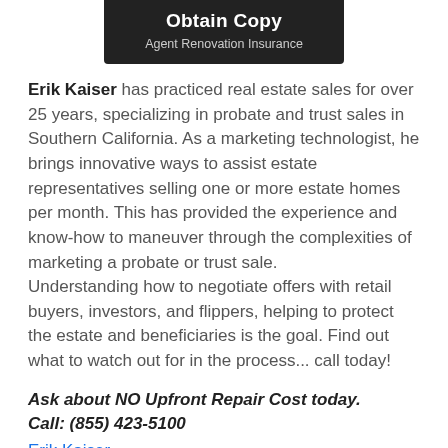Obtain Copy
Agent Renovation Insurance
Erik Kaiser has practiced real estate sales for over 25 years, specializing in probate and trust sales in Southern California. As a marketing technologist, he brings innovative ways to assist estate representatives selling one or more estate homes per month. This has provided the experience and know-how to maneuver through the complexities of marketing a probate or trust sale.
Understanding how to negotiate offers with retail buyers, investors, and flippers, helping to protect the estate and beneficiaries is the goal. Find out what to watch out for in the process... call today!
Ask about NO Upfront Repair Cost today.
Call: (855) 423-5100
Erik Kaiser